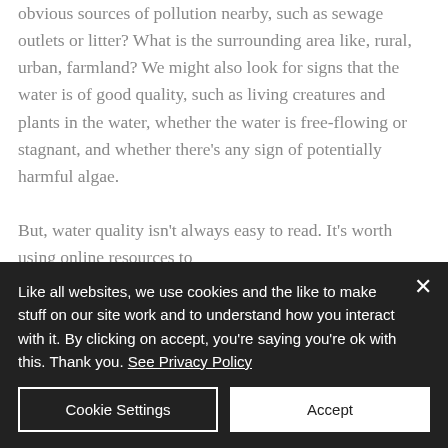obvious sources of pollution nearby, such as sewage outlets or litter? What is the surrounding area like, rural, urban, farmland? We might also look for signs that the water is of good quality, such as living creatures and plants in the water, whether the water is free-flowing or stagnant, and whether there's any sign of potentially harmful algae.

But, water quality isn't always easy to read. It's worth using online resources to
Like all websites, we use cookies and the like to make stuff on our site work and to understand how you interact with it. By clicking on accept, you're saying you're ok with this. Thank you. See Privacy Policy